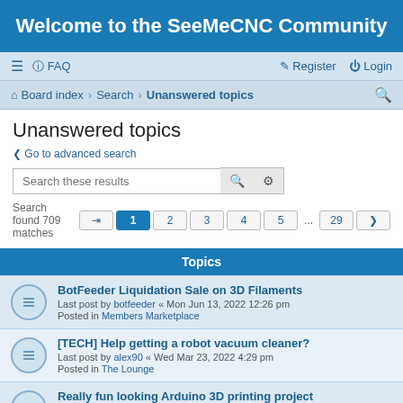Welcome to the SeeMeCNC Community
FAQ | Register | Login | Board index | Search | Unanswered topics
Unanswered topics
Go to advanced search
Search these results
Search found 709 matches  1 2 3 4 5 ... 29
Topics
BotFeeder Liquidation Sale on 3D Filaments
Last post by botfeeder « Mon Jun 13, 2022 12:26 pm
Posted in Members Marketplace
[TECH] Help getting a robot vacuum cleaner?
Last post by alex90 « Wed Mar 23, 2022 4:29 pm
Posted in The Lounge
Really fun looking Arduino 3D printing project
Last post by alex90 « Tue Mar 22, 2022 1:42 pm
Posted in What are YOU making?
Cleaning extruder
Last post by ...